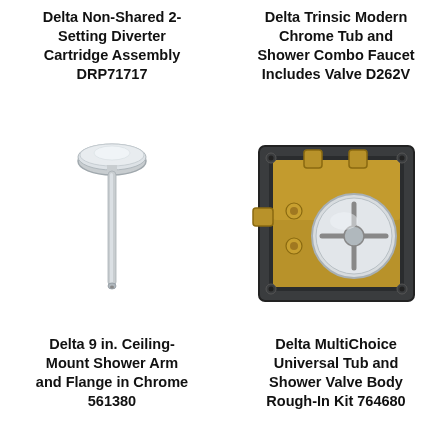Delta Non-Shared 2-Setting Diverter Cartridge Assembly DRP71717
Delta Trinsic Modern Chrome Tub and Shower Combo Faucet Includes Valve D262V
[Figure (photo): Chrome ceiling-mount shower arm with round flange plate at top and narrow cylindrical arm extending downward]
[Figure (photo): Delta MultiChoice Universal Tub and Shower valve body rough-in kit showing dark square frame with brass internal components and chrome disc/cartridge]
Delta 9 in. Ceiling-Mount Shower Arm and Flange in Chrome 561380
Delta MultiChoice Universal Tub and Shower Valve Body Rough-In Kit 764680